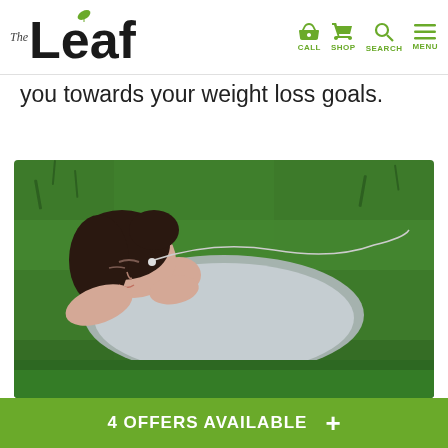The Leaf — CALL SHOP SEARCH MENU
you towards your weight loss goals.
[Figure (photo): Woman with dark hair lying on green grass with earphones in, wearing grey t-shirt, eyes closed, relaxing outdoors.]
10 Things Healthy People Do Every. Single. Day.
READ MORE
4 OFFERS AVAILABLE +